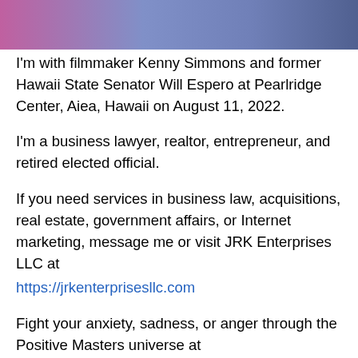[Figure (photo): Photo of people at Pearlridge Center, partially visible at top of page]
I'm with filmmaker Kenny Simmons and former Hawaii State Senator Will Espero at Pearlridge Center, Aiea, Hawaii on August 11, 2022.
I'm a business lawyer, realtor, entrepreneur, and retired elected official.
If you need services in business law, acquisitions, real estate, government affairs, or Internet marketing, message me or visit JRK Enterprises LLC at https://jrkenterprisesllc.com
Fight your anxiety, sadness, or anger through the Positive Masters universe at https://positivemasters.com for mindset practices, tips for your passion projects, storytelling, motivational podcast and YouTube channel,